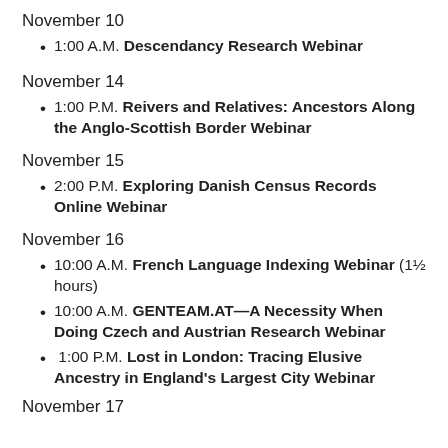November 10
1:00 A.M. Descendancy Research Webinar
November 14
1:00 P.M. Reivers and Relatives: Ancestors Along the Anglo-Scottish Border Webinar
November 15
2:00 P.M. Exploring Danish Census Records Online Webinar
November 16
10:00 A.M. French Language Indexing Webinar (1½ hours)
10:00 A.M. GENTEAM.AT—A Necessity When Doing Czech and Austrian Research Webinar
1:00 P.M. Lost in London: Tracing Elusive Ancestry in England's Largest City Webinar
November 17